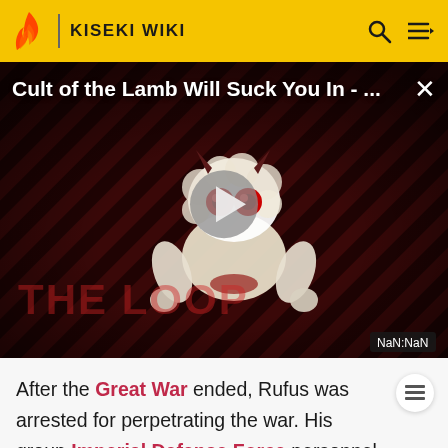KISEKI WIKI
[Figure (screenshot): Video thumbnail for 'Cult of the Lamb Will Suck You In - ...' with a play button overlay, cartoon lamb devil character, diagonal stripe background in dark red, 'THE LOOP' text watermark, and NaN:NaN timestamp badge]
After the Great War ended, Rufus was arrested for perpetrating the war. His group Imperial Defense Force personnel that remained in Crossbell City attempted to regain control of the situation, but they were eventually